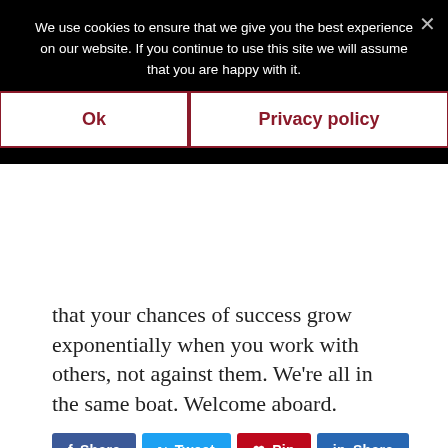We use cookies to ensure that we give you the best experience on our website. If you continue to use this site we will assume that you are happy with it.
that your chances of success grow exponentially when you work with others, not against them. We're all in the same boat. Welcome aboard.
Share  Tweet  Pin  Share
FILED UNDER: AUTHORS, PUBLISHING TIPS
TAGGED WITH: AMAZON, AMAZON KINDLE, AUTHOR, AUTHOR PUBLISHING, BOOK MARKETING, E-BOOK, INDIE, PUBLISH BOOK, PUBLISH YOUR BOOK, PUBLISHED AUTHOR, PUBLISHING, PUBLISHING INDUSTRY, SELF PUBLISHER, SELF-PUBLISHING, SUCCESSFUL AUTHORS